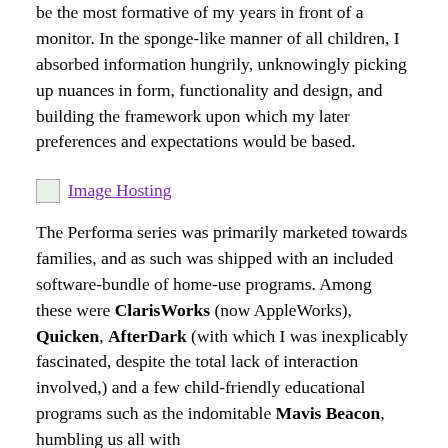be the most formative of my years in front of a monitor. In the sponge-like manner of all children, I absorbed information hungrily, unknowingly picking up nuances in form, functionality and design, and building the framework upon which my later preferences and expectations would be based.
[Figure (other): Broken image placeholder with link 'Image Hosting']
The Performa series was primarily marketed towards families, and as such was shipped with an included software-bundle of home-use programs. Among these were ClarisWorks (now AppleWorks), Quicken, AfterDark (with which I was inexplicably fascinated, despite the total lack of interaction involved,) and a few child-friendly educational programs such as the indomitable Mavis Beacon, humbling us all with